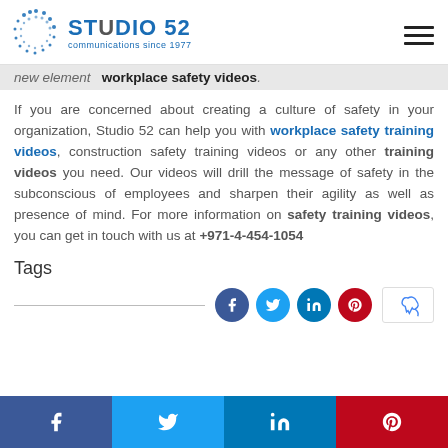Studio 52 communications since 1977
new element  workplace safety videos.
If you are concerned about creating a culture of safety in your organization, Studio 52 can help you with workplace safety training videos, construction safety training videos or any other training videos you need. Our videos will drill the message of safety in the subconscious of employees and sharpen their agility as well as presence of mind. For more information on safety training videos, you can get in touch with us at +971-4-454-1054
Tags
f  twitter  in  pinterest